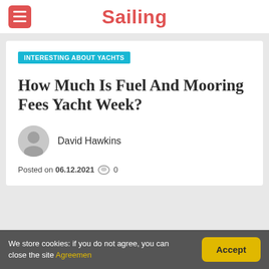Sailing
INTERESTING ABOUT YACHTS
How Much Is Fuel And Mooring Fees Yacht Week?
David Hawkins
Posted on 06.12.2021  0
We store cookies: if you do not agree, you can close the site Agreemen